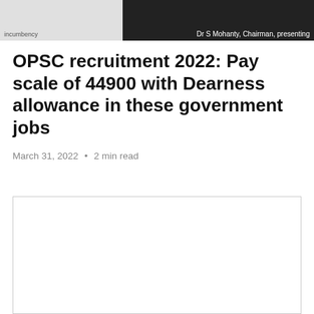[Figure (photo): Left portion of top banner image — light gray placeholder area with small text reading 'incumbency' at bottom left]
[Figure (photo): Right portion of top banner — dark background image with white caption text: 'Dr S Mohanty, Chairman, presenting']
OPSC recruitment 2022: Pay scale of 44900 with Dearness allowance in these government jobs
March 31, 2022 • 2 min read
[Figure (other): Advertisement box — empty white rectangle with light gray border]